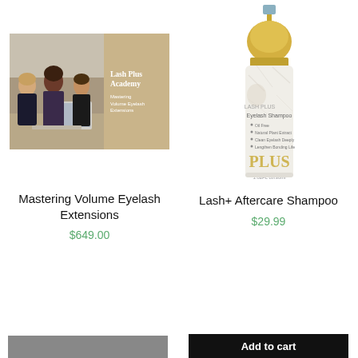[Figure (photo): Course cover image for Mastering Volume Eyelash Extensions - Lash Plus Academy, showing three women looking at a laptop outdoors with a tan overlay panel]
[Figure (photo): Lash+ Aftercare Shampoo product bottle with gold pump top and white marble body, labeled Eyelash Shampoo with bullet points: Oil Free, Natural Plant Extract, Clean Eyelash Deeply, Lengthen Bonding Life, 1.02 FL oz/30ml]
Mastering Volume Eyelash Extensions
$649.00
Lash+ Aftercare Shampoo
$29.99
Add to cart